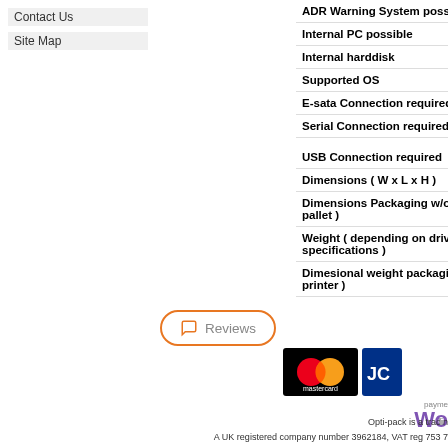Contact Us
Site Map
| Specification | Value |
| --- | --- |
| ADR Warning System possible |  |
| Internal PC possible |  |
| Internal harddisk | 1T |
| Supported OS | W |
| E-sata Connection required | YES |
| Serial Connection required | YE |
| USB Connection required | YE |
| Dimensions ( W x L x H ) |  |
| Dimensions Packaging w/o printer ( on pallet ) |  |
| Weight ( depending on drives and specifications ) |  |
| Dimesional weight packaging ( without printer ) |  |
Reviews
[Figure (logo): Mastercard logo — black background with overlapping red and orange circles, 'mastercard' text below]
[Figure (logo): JCB card logo — partial view, blue background]
[Figure (logo): Payment powered by Woo (WooCommerce) — 'payments' label above 'Wo' text in purple]
Opti-pack is a tradin... A UK registered company number 3962184, VAT reg 753 7... Copyright ... Powered ...